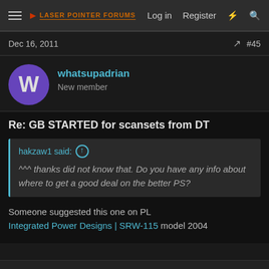Laser Pointer Forums — Log in  Register
Dec 16, 2011  #45
whatsupadrian
New member
Re: GB STARTED for scansets from DT
hakzaw1 said: ↑
^^^ thanks did not know that. Do you have any info about where to get a good deal on the better PS?
Someone suggested this one on PL
Integrated Power Designs | SRW-115 model 2004